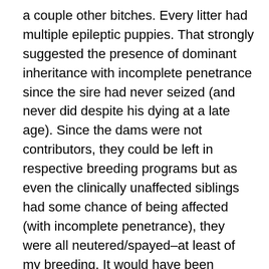a couple other bitches. Every litter had multiple epileptic puppies. That strongly suggested the presence of dominant inheritance with incomplete penetrance since the sire had never seized (and never did despite his dying at a late age). Since the dams were not contributors, they could be left in respective breeding programs but as even the clinically unaffected siblings had some chance of being affected (with incomplete penetrance), they were all neutered/spayed–at least of my breeding. It would have been defensible to do test breedings with those animals, as with dominant inheritance, some of the offspring of the non- seizuring siblings (from the original litter) with the defective dominant gene would have been expected to seize, but given the dominant nature of the disease and the severity of the epilepsy in some of the individuals affected, this was not my choice. Had a test breeding been